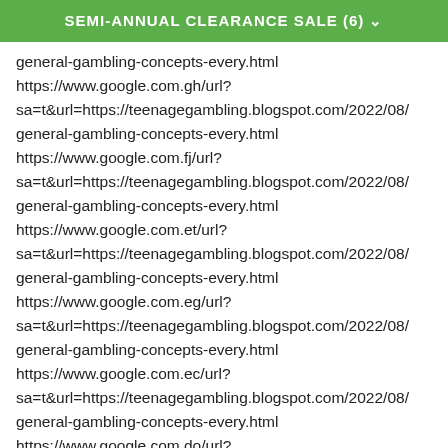SEMI-ANNUAL CLEARANCE SALE (6)
general-gambling-concepts-every.html
https://www.google.com.gh/url?
sa=t&url=https://teenagegambling.blogspot.com/2022/08/general-gambling-concepts-every.html
https://www.google.com.fj/url?
sa=t&url=https://teenagegambling.blogspot.com/2022/08/general-gambling-concepts-every.html
https://www.google.com.et/url?
sa=t&url=https://teenagegambling.blogspot.com/2022/08/general-gambling-concepts-every.html
https://www.google.com.eg/url?
sa=t&url=https://teenagegambling.blogspot.com/2022/08/general-gambling-concepts-every.html
https://www.google.com.ec/url?
sa=t&url=https://teenagegambling.blogspot.com/2022/08/general-gambling-concepts-every.html
https://www.google.com.do/url?